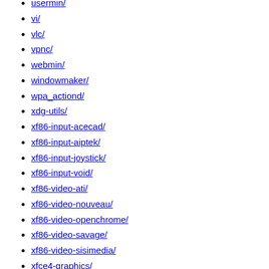usermin/
vi/
vlc/
vpnc/
webmin/
windowmaker/
wpa_actiond/
xdg-utils/
xf86-input-acecad/
xf86-input-aiptek/
xf86-input-joystick/
xf86-input-void/
xf86-video-ati/
xf86-video-nouveau/
xf86-video-openchrome/
xf86-video-savage/
xf86-video-sisimedia/
xfce4-graphics/
xfce4-weather-plugin/
xfsprogs/
xorg-server/
xpacman2/
yp-tools/
ypbind-mt/